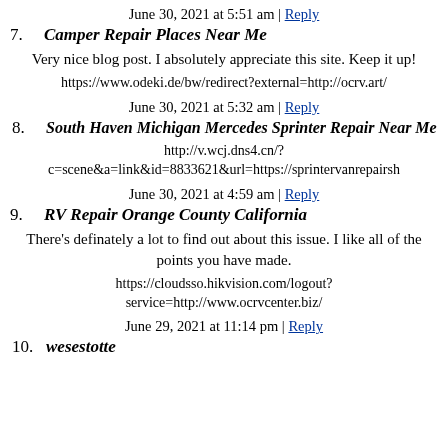June 30, 2021 at 5:51 am | Reply
7. Camper Repair Places Near Me
Very nice blog post. I absolutely appreciate this site. Keep it up!
https://www.odeki.de/bw/redirect?external=http://ocrv.art/
June 30, 2021 at 5:32 am | Reply
8. South Haven Michigan Mercedes Sprinter Repair Near Me
http://v.wcj.dns4.cn/?c=scene&a=link&id=8833621&url=https://sprintervanrepairsh
June 30, 2021 at 4:59 am | Reply
9. RV Repair Orange County California
There's definately a lot to find out about this issue. I like all of the points you have made.
https://cloudsso.hikvision.com/logout?service=http://www.ocrvcenter.biz/
June 29, 2021 at 11:14 pm | Reply
10. wesestotte